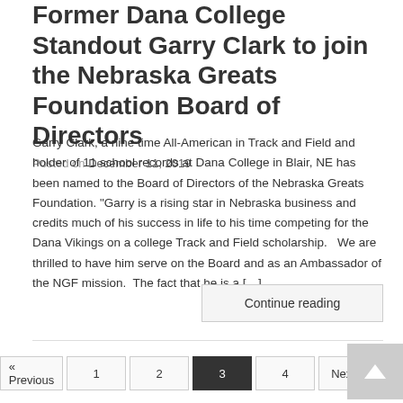Former Dana College Standout Garry Clark to join the Nebraska Greats Foundation Board of Directors
Posted on December 11, 2019
Garry Clark, a nine time All-American in Track and Field and holder of 11 school records at Dana College in Blair, NE has been named to the Board of Directors of the Nebraska Greats Foundation. “Garry is a rising star in Nebraska business and credits much of his success in life to his time competing for the Dana Vikings on a college Track and Field scholarship.   We are thrilled to have him serve on the Board and as an Ambassador of the NGF mission.  The fact that he is a […]
Continue reading
« Previous  1  2  3  4  Next »